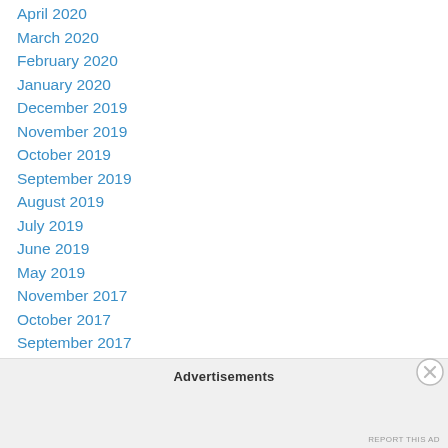April 2020
March 2020
February 2020
January 2020
December 2019
November 2019
October 2019
September 2019
August 2019
July 2019
June 2019
May 2019
November 2017
October 2017
September 2017
August 2017
Advertisements
REPORT THIS AD